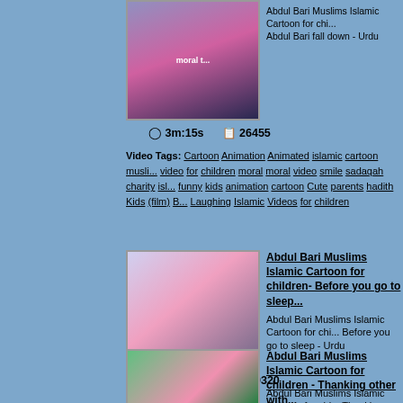[Figure (screenshot): Thumbnail for Abdul Bari Muslims Islamic Cartoon - fall down video, showing animated characters with 'moral t...' text overlay]
Abdul Bari Muslims Islamic Cartoon for chi... Abdul Bari fall down - Urdu
3m:15s   26455
Video Tags: Cartoon Animation Animated islamic cartoon musli... video for children moral moral video smile sadaqah charity isl... funny kids animation cartoon Cute parents hadith Kids (film) B... Laughing Islamic Videos for children
[Figure (screenshot): Thumbnail for Abdul Bari Muslims Islamic Cartoon - Before you go to sleep video, showing animated scene with checkmark icon]
Abdul Bari Muslims Islamic Cartoon for children- Before you go to sleep...
Abdul Bari Muslims Islamic Cartoon for chi... Before you go to sleep - Urdu
2m:36s   10320
[Figure (screenshot): Thumbnail for Abdul Bari Muslims Islamic Cartoon - Thanking other with... video, showing animated characters outdoors]
Abdul Bari Muslims Islamic Cartoon for children - Thanking other with...
Abdul Bari Muslims Islamic Cartoon for chi... Thanking other with Jazak Allah Khair - Ur...